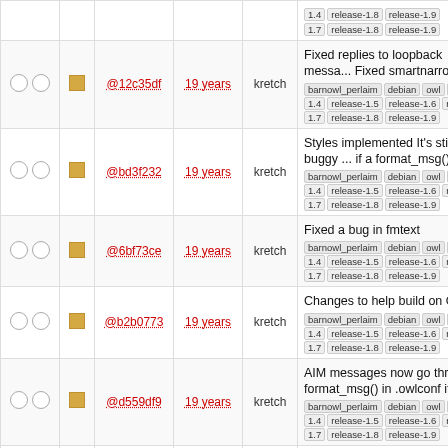|  |  | Hash | Age | Author | Description |
| --- | --- | --- | --- | --- | --- |
| ○ ○ | ■ | @12c35df | 19 years | kretch | Fixed replies to loopback messa... Fixed smartnarrow on ... barnowl_perlaim debian owl rel... 1.4 release-1.5 release-1.6 rele... 1.7 release-1.8 release-1.9 |
| ○ ○ | ■ | @bd3f232 | 19 years | kretch | Styles implemented It's still a lit buggy ... if a format_msg(); is ... barnowl_perlaim debian owl rel... 1.4 release-1.5 release-1.6 rele... 1.7 release-1.8 release-1.9 |
| ○ ○ | ■ | @6bf73ce | 19 years | kretch | Fixed a bug in fmtext barnowl_perlaim debian owl rel... 1.4 release-1.5 release-1.6 rele... 1.7 release-1.8 release-1.9 |
| ○ ○ | ■ | @b2b0773 | 19 years | kretch | Changes to help build on OSX ... barnowl_perlaim debian owl rel... 1.4 release-1.5 release-1.6 rele... 1.7 release-1.8 release-1.9 |
| ○ ○ | ■ | @d559df9 | 19 years | kretch | AIM messages now go through format_msg() in .owlconf if it ex barnowl_perlaim debian owl rel... 1.4 release-1.5 release-1.6 rele... 1.7 release-1.8 release-1.9 |
| ○ ○ | ■ | @6789230 | 19 years | kretch | 'isloginout' and 'isprivate' are no message attributes improved ... barnowl_perlaim debian owl rel... 1.4 release-1.5 release-1.6 rele... 1.7 release-1.8 release-1.9 |
| ○ ○ | ■ | @f2f9314 | 20 years | kretch | Added some defenses against crashes, and put in debug ... barnowl_perlaim debian owl rel... 1.4 release-1.5 release-1.6 |